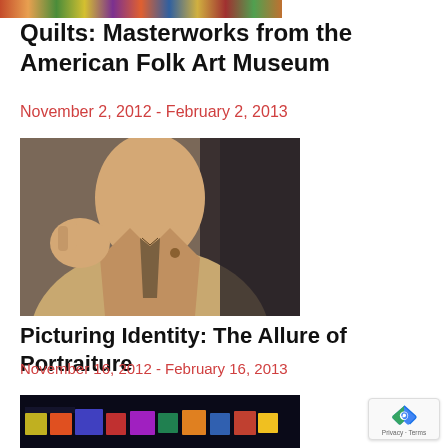[Figure (photo): Top portion of a colorful quilt with bright patterns in reds, greens, purples, and yellows]
Quilts: Masterworks from the American Folk Art Museum
November 2, 2012 - February 2, 2013
[Figure (photo): A man in a beige pinstripe suit with a striped tie, gesturing with his hand raised, pointing finger, speaking or presenting]
Picturing Identity: The Allure of Portraiture
November 16, 2012 - February 16, 2013
[Figure (photo): A colorful artwork with bright multicolored blocks and abstract shapes on a dark background]